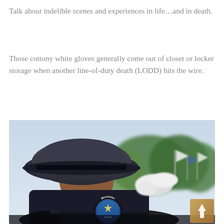Talk about indelible scenes and experiences in life…and in death.
Those cottony white gloves generally come out of closet or locker storage when another line-of-duty death (LODD) hits the wire.
[Figure (photo): A police officer in dress uniform with dark cap, seen from behind, wearing white gloves. A motorcycle with a 'Worcester Police' badge is visible in the foreground. Trees and flags are visible in the background. A small golden watermark/logo is in the bottom-right corner of the photo.]